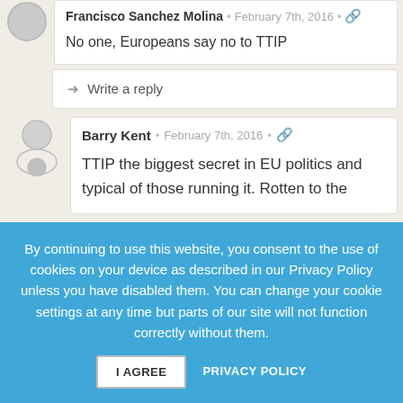Francisco Sanchez Molina · February 7th, 2016 · 🔗
No one, Europeans say no to TTIP
➜ Write a reply
Barry Kent · February 7th, 2016 · 🔗
TTIP the biggest secret in EU politics and typical of those running it. Rotten to the
By continuing to use this website, you consent to the use of cookies on your device as described in our Privacy Policy unless you have disabled them. You can change your cookie settings at any time but parts of our site will not function correctly without them.
I AGREE
PRIVACY POLICY